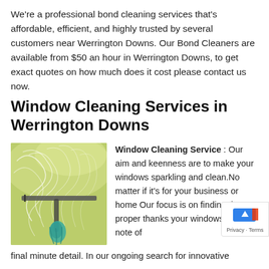We're a professional bond cleaning services that's affordable, efficient, and highly trusted by several customers near Werrington Downs. Our Bond Cleaners are available from $50 an hour in Werrington Downs, to get exact quotes on how much does it cost please contact us now.
Window Cleaning Services in Werrington Downs
[Figure (photo): Photo of a window being cleaned with a squeegee, showing swirl marks on glass with a green/yellow blurred background]
Window Cleaning Service : Our aim and keenness are to make your windows sparkling and clean.No matter if it's for your business or home Our focus is on finding the proper thanks your windows with note of final minute detail. In our ongoing search for innovative